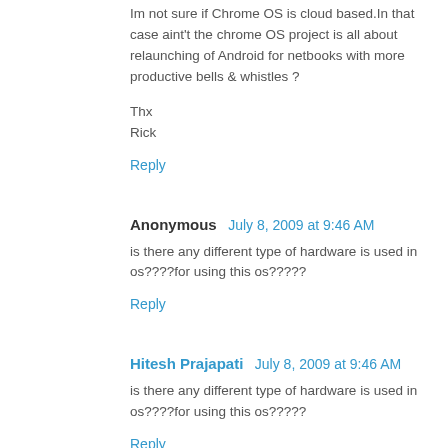Im not sure if Chrome OS is cloud based.In that case aint't the chrome OS project is all about relaunching of Android for netbooks with more productive bells & whistles ?
Thx
Rick
Reply
Anonymous  July 8, 2009 at 9:46 AM
is there any different type of hardware is used in os????for using this os?????
Reply
Hitesh Prajapati  July 8, 2009 at 9:46 AM
is there any different type of hardware is used in os????for using this os?????
Reply